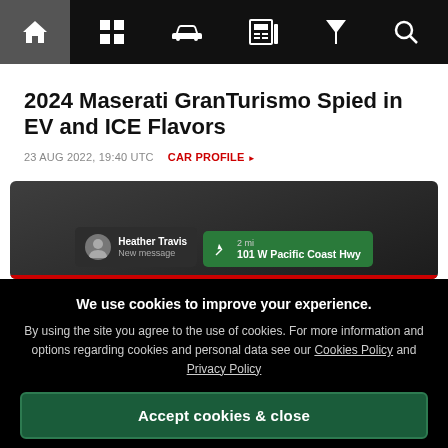Navigation bar with home, grid, car, news, filter, search icons
2024 Maserati GranTurismo Spied in EV and ICE Flavors
23 AUG 2022, 19:40 UTC    CAR PROFILE
[Figure (screenshot): Car dashboard infotainment screen showing a message notification from Heather Travis (New message) and a navigation card showing '2 mi 101 W Pacific Coast Hwy']
We use cookies to improve your experience. By using the site you agree to the use of cookies. For more information and options regarding cookies and personal data see our Cookies Policy and Privacy Policy
Accept cookies & close
California residents: Do Not Sell My Info